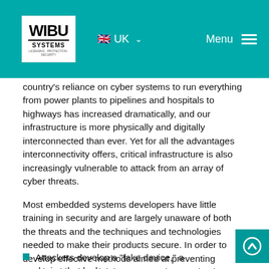WIBU SYSTEMS | UK | Menu
country's reliance on cyber systems to run everything from power plants to pipelines and hospitals to highways has increased dramatically, and our infrastructure is more physically and digitally interconnected than ever. Yet for all the advantages interconnectivity offers, critical infrastructure is also increasingly vulnerable to attack from an array of cyber threats.
Most embedded systems developers have little training in security and are largely unaware of both the threats and the techniques and technologies needed to make their products secure. In order to develop effective methods aimed at preventing attacks, the potential threat scenarios need to be understood. Some of the possible attacks to embedded systems are listed here below:
Attackers develop a "fake device," a device that looks just like the original but performs functions beyond...